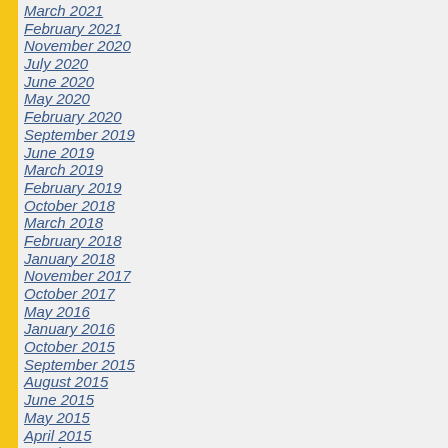March 2021
February 2021
November 2020
July 2020
June 2020
May 2020
February 2020
September 2019
June 2019
March 2019
February 2019
October 2018
March 2018
February 2018
January 2018
November 2017
October 2017
May 2016
January 2016
October 2015
September 2015
August 2015
June 2015
May 2015
April 2015
March 2015
December 2014
November 2014
October 2014
September 2014